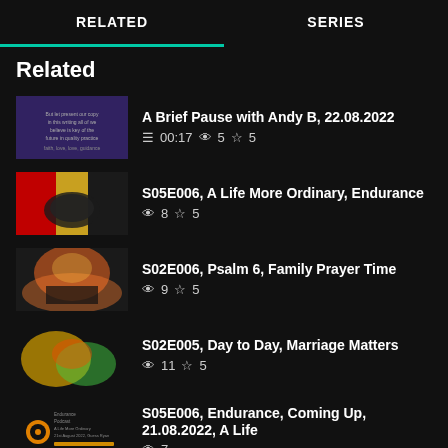RELATED   SERIES
Related
A Brief Pause with Andy B, 22.08.2022 — 00:17  5  ☆ 5
S05E006, A Life More Ordinary, Endurance — 8  ☆ 5
S02E006, Psalm 6, Family Prayer Time — 9  ☆ 5
S02E005, Day to Day, Marriage Matters — 11  ☆ 5
S05E006, Endurance, Coming Up, 21.08.2022, A Life — 7
the Dave the Dog Show, Coming Soon — 00:14  15  ☆ 5